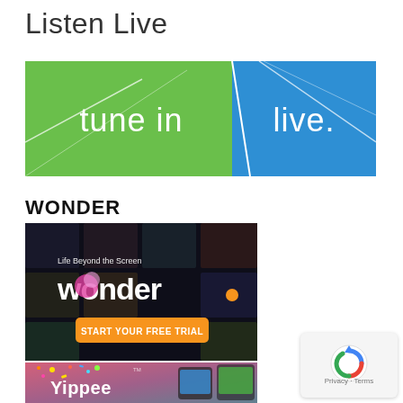Listen Live
[Figure (screenshot): TuneIn banner with green and blue background showing 'tune in / live.' in white text]
WONDER
[Figure (screenshot): Wonder streaming service advertisement showing 'Life Beyond the Screen' with wonder logo and 'START YOUR FREE TRIAL' orange button]
[Figure (screenshot): Yippee streaming service advertisement with colorful confetti showing 'Yippee' logo and text 'A new streaming service for kids and families' with phone mockups]
[Figure (logo): Google reCAPTCHA privacy badge with blue/red icon and 'Privacy · Terms' text]